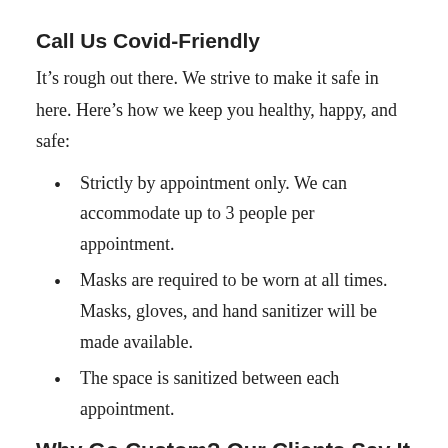Call Us Covid-Friendly
It’s rough out there. We strive to make it safe in here. Here’s how we keep you healthy, happy, and safe:
Strictly by appointment only. We can accommodate up to 3 people per appointment.
Masks are required to be worn at all times. Masks, gloves, and hand sanitizer will be made available.
The space is sanitized between each appointment.
Why Go Custom? Our Clients Say It Best.
⬜⬜⬜⬜⬜
“I had an amazing experience, I will absolutely be going back for more. Shao and Val are wonderful and so helpful. I felt completely comfortable and understood and they created a happy